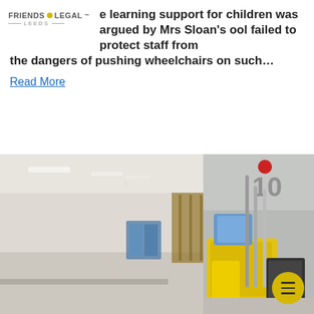[Figure (logo): Friends Legal Leeds logo with yellow dot]
e learning support for children was argued by Mrs Sloan's ool failed to protect staff from the dangers of pushing wheelchairs on such…
Read More
[Figure (photo): School corridor with cleaning trolley and janitor equipment including yellow mop bucket, blue bin, mops. Number 10 visible on wall.]